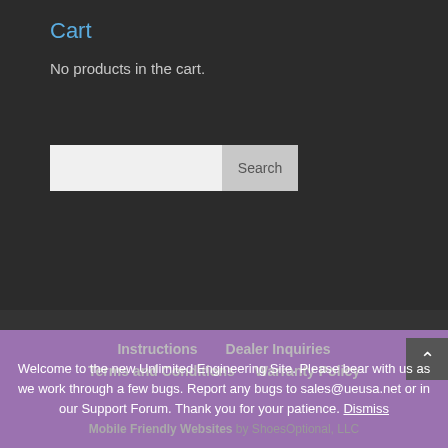Cart
No products in the cart.
[Figure (screenshot): Search input box with Search button]
Instructions
Dealer Inquiries
Terms and Conditions
Warranty Policy
Mobile Friendly Websites by ShoesOptional, LLC
Welcome to the new Unlimited Engineering Site. Please bear with us as we work through a few bugs. Report any bugs to sales@ueusa.net or in our Support Forum. Thank you for your patience. Dismiss